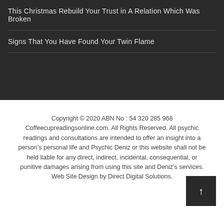This Christmas Rebuild Your Trust in A Relation Which Was Broken
Signs That You Have Found Your Twin Flame
Copyright © 2020 ABN No : 54 320 285 968 Coffeecupreadingsonline.com. All Rights Reserved. All psychic readings and consultations are intended to offer an insight into a person's personal life and Psychic Deniz or this website shall not be held liable for any direct, indirect, incidental, consequential, or punitive damages arising from using this site and Deniz's services. Web Site Design by Direct Digital Solutions.